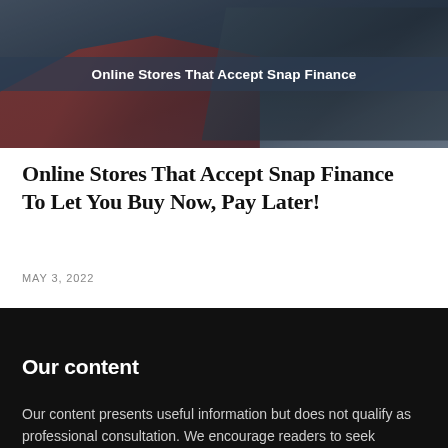[Figure (photo): Hero image showing a hand holding a red credit card near a laptop, depicting online shopping. A dark overlay band shows the text 'Online Stores That Accept Snap Finance' in white bold text centered on the image.]
Online Stores That Accept Snap Finance To Let You Buy Now, Pay Later!
MAY 3, 2022
Our content
Our content presents useful information but does not qualify as professional consultation. We encourage readers to seek